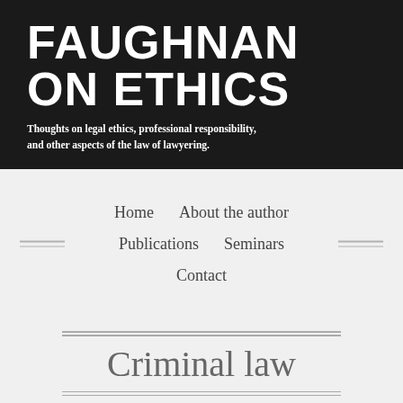FAUGHNAN ON ETHICS
Thoughts on legal ethics, professional responsibility, and other aspects of the law of lawyering.
Home   About the author   Publications   Seminars   Contact
Criminal law